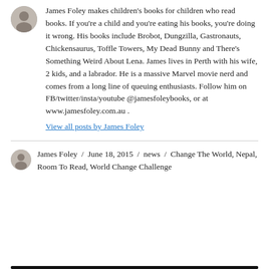[Figure (photo): Small circular avatar photo of James Foley (author headshot)]
James Foley makes children's books for children who read books. If you're a child and you're eating his books, you're doing it wrong. His books include Brobot, Dungzilla, Gastronauts, Chickensaurus, Toffle Towers, My Dead Bunny and There's Something Weird About Lena. James lives in Perth with his wife, 2 kids, and a labrador. He is a massive Marvel movie nerd and comes from a long line of queuing enthusiasts. Follow him on FB/twitter/insta/youtube @jamesfoleybooks, or at www.jamesfoley.com.au .
View all posts by James Foley
[Figure (photo): Small circular avatar photo of James Foley (author headshot, smaller)]
James Foley / June 18, 2015 / news / Change The World, Nepal, Room To Read, World Change Challenge